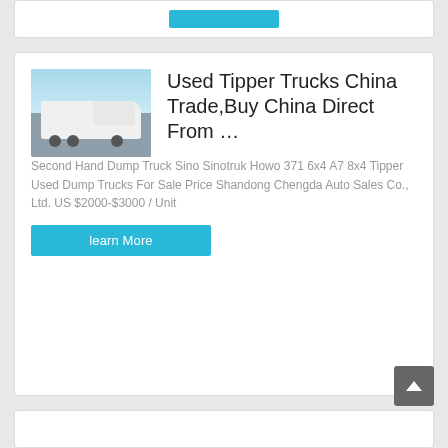[Figure (screenshot): Top partial card with a cyan/blue button visible at the top of the page]
[Figure (photo): White Sinotruk HOWO semi-truck/tractor unit parked outdoors with sky and buildings in background]
Used Tipper Trucks China Trade,Buy China Direct From …
Second Hand Dump Truck Sino Sinotruk Howo 371 6x4 A7 8x4 Tipper Used Dump Trucks For Sale Price Shandong Chengda Auto Sales Co., Ltd. US $2000-$3000 / Unit
learn More
[Figure (screenshot): Bottom partial card visible at the bottom of the page]